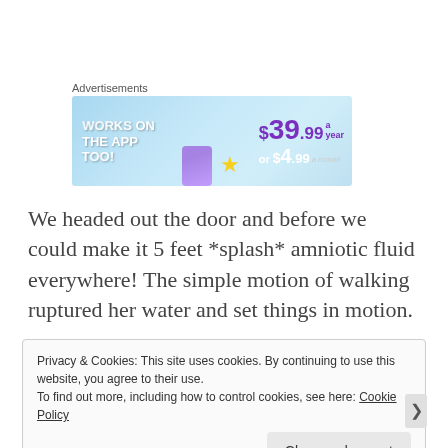[Figure (infographic): Advertisement banner: 'WORKS ON THE APP TOO!' on the left in white bold text, and pricing '$39.99 a year or $4.99 a month' in purple/white on a light blue background. A phone device and star graphic are visible.]
We headed out the door and before we could make it 5 feet *splash* amniotic fluid everywhere! The simple motion of walking ruptured her water and set things in motion.
Privacy & Cookies: This site uses cookies. By continuing to use this website, you agree to their use.
To find out more, including how to control cookies, see here: Cookie Policy
Close and accept